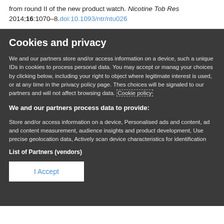from round II of the new product watch. Nicotine Tob Res 2014;16:1070–8.doi:10.1093/ntr/ntu026
Cookies and privacy
We and our partners store and/or access information on a device, such a unique IDs in cookies to process personal data. You may accept or manage your choices by clicking below, including your right to object where legitimate interest is used, or at any time in the privacy policy page. These choices will be signaled to our partners and will not affect browsing data. Cookie policy
We and our partners process data to provide:
Store and/or access information on a device, Personalised ads and content, ad and content measurement, audience insights and product development, Use precise geolocation data, Actively scan device characteristics for identification
List of Partners (vendors)
I Accept